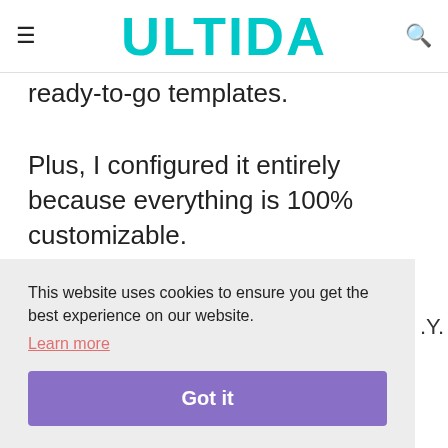ULTIDA
ready-to-go templates.
Plus, I configured it entirely because everything is 100% customizable.
This website uses cookies to ensure you get the best experience on our website. Learn more Got it